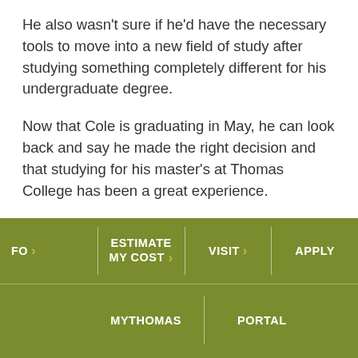He also wasn't sure if he'd have the necessary tools to move into a new field of study after studying something completely different for his undergraduate degree.
Now that Cole is graduating in May, he can look back and say he made the right decision and that studying for his master's at Thomas College has been a great experience.
And it's already paying off with a recent promotion at work: Manager of the Engineering Department
FO > | ESTIMATE MY COST > | VISIT > | APPLY | MYTHOMAS | PORTAL